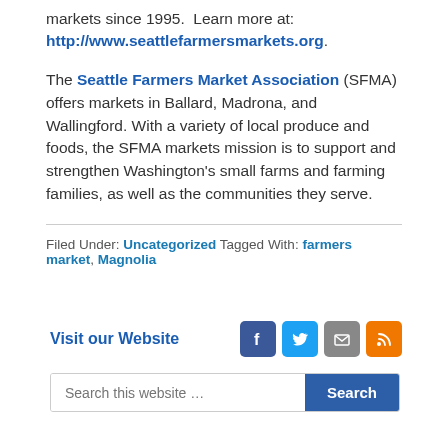markets since 1995.  Learn more at: http://www.seattlefarmersmarkets.org.
The Seattle Farmers Market Association (SFMA) offers markets in Ballard, Madrona, and Wallingford. With a variety of local produce and foods, the SFMA markets mission is to support and strengthen Washington's small farms and farming families, as well as the communities they serve.
Filed Under: Uncategorized Tagged With: farmers market, Magnolia
Visit our Website
[Figure (other): Social media icons: Facebook (blue), Twitter (blue), Email (grey), RSS (orange)]
Search this website …